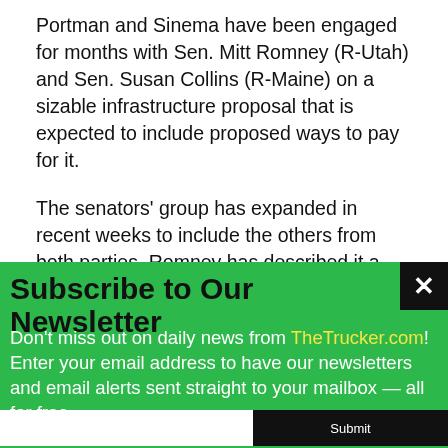Portman and Sinema have been engaged for months with Sen. Mitt Romney (R-Utah) and Sen. Susan Collins (R-Maine) on a sizable infrastructure proposal that is expected to include proposed ways to pay for it.
The senators' group has expanded in recent weeks to include the others from both parties. Romney has described it a "back burner" group, in case the administration's talks with the GOP senators faltered.
Subscribe to Our Newsletter
Don't miss out on daily news from TheTrucker.com! Enter your email address to have our newsletters and email alerts sent straight to your mailbox — all for free.
✓ We don't share your information with anyone.